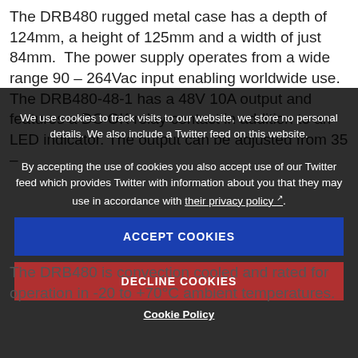The DRB480 rugged metal case has a depth of 124mm, a height of 125mm and a width of just 84mm. The power supply operates from a wide range 90 – 264Vac input enabling worldwide use. The DRB480-48-1 has a 48V 10A output and features a DC OK relay contact in addition to an LED indicator. The output can be adjusted from 35 – ... MO... The DRB480 is convection cooled and rated for operation in -20 to +70°C ambient temperatures. To 62.5% load at 70°C. A high reliability, all up to 125°C capacitors, providing a hold life in excess of 10 years.
We use cookies to track visits to our website, we store no personal details. We also include a Twitter feed on this website.
By accepting the use of cookies you also accept use of our Twitter feed which provides Twitter with information about you that they may use in accordance with their privacy policy.
ACCEPT COOKIES
DECLINE COOKIES
Cookie Policy